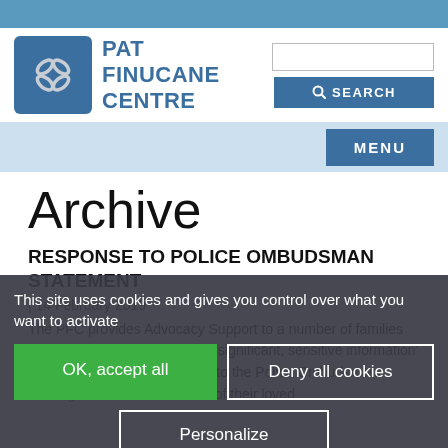[Figure (logo): Pat Finucane Centre logo — blue rounded square with chain-link icon, and text PAT FINUCANE CENTRE in blue]
Archive
RESPONSE TO POLICE OMBUDSMAN STATEMENT
| 14 February 2019
The PFC provides Advocacy Support to a number of families affected by the revelation that 'significant, sensitive information' was not provided by the PSNI to the Police Ombudsman investigation into the murders of their loved
This site uses cookies and gives you control over what you want to activate